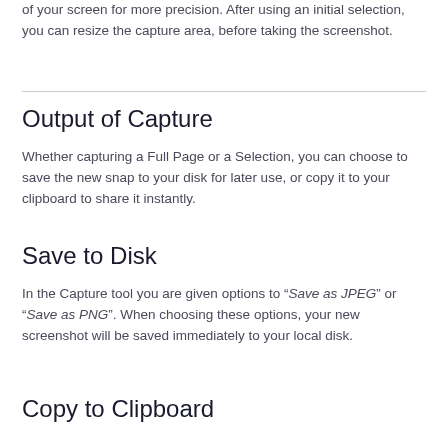of your screen for more precision. After using an initial selection, you can resize the capture area, before taking the screenshot.
Output of Capture
Whether capturing a Full Page or a Selection, you can choose to save the new snap to your disk for later use, or copy it to your clipboard to share it instantly.
Save to Disk
In the Capture tool you are given options to “Save as JPEG” or “Save as PNG”. When choosing these options, your new screenshot will be saved immediately to your local disk.
Copy to Clipboard